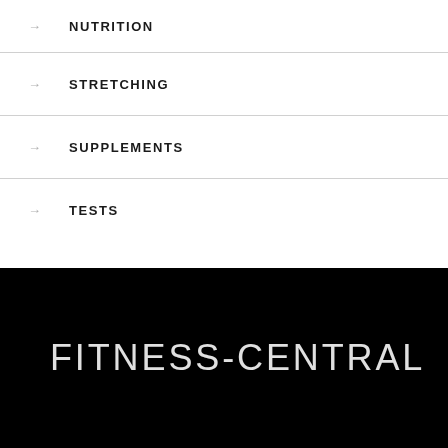NUTRITION
STRETCHING
SUPPLEMENTS
TESTS
FITNESS-CENTRAL